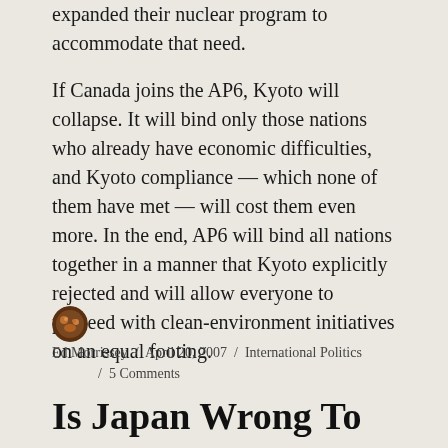expanded their nuclear program to accommodate that need. If Canada joins the AP6, Kyoto will collapse. It will bind only those nations who already have economic difficulties, and Kyoto compliance — which none of them have met — will cost them even more. In the end, AP6 will bind all nations together in a manner that Kyoto explicitly rejected and will allow everyone to proceed with clean-environment initiatives on an equal footing.
Ed Morrissey / April 20, 2007 / International Politics / 5 Comments
Is Japan Wrong To Honor